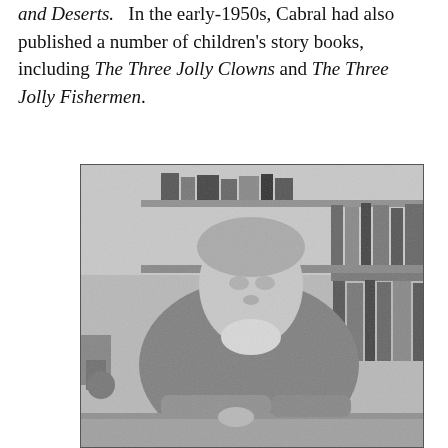and Deserts.   In the early-1950s, Cabral had also published a number of children's story books, including The Three Jolly Clowns and The Three Jolly Fishermen.
[Figure (photo): Black and white photograph of a woman seated at a desk, leaning forward with bookshelves visible in the background behind her.]